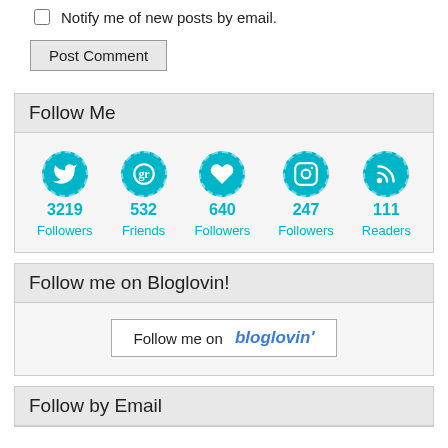Notify me of new posts by email.
Post Comment
Follow Me
[Figure (infographic): Five social media follow icons in circles (Twitter: 3219 Followers, Goodreads: 532 Friends, Heart/Bloglovin: 640 Followers, Instagram: 247 Followers, RSS: 111 Readers) with counts and labels below each icon in teal/cyan color.]
Follow me on Bloglovin!
[Figure (other): Follow me on bloglovin button with border]
Follow by Email